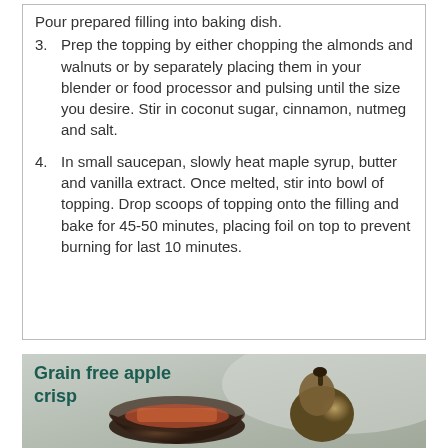Pour prepared filling into baking dish.
3. Prep the topping by either chopping the almonds and walnuts or by separately placing them in your blender or food processor and pulsing until the size you desire. Stir in coconut sugar, cinnamon, nutmeg and salt.
4. In small saucepan, slowly heat maple syrup, butter and vanilla extract. Once melted, stir into bowl of topping. Drop scoops of topping onto the filling and bake for 45-50 minutes, placing foil on top to prevent burning for last 10 minutes.
[Figure (photo): Photo of grain free apple crisp in a dark bowl with a bronze pear figurine beside it, on a light background. Text overlay reads 'Grain free apple crisp' in dark teal bold font.]